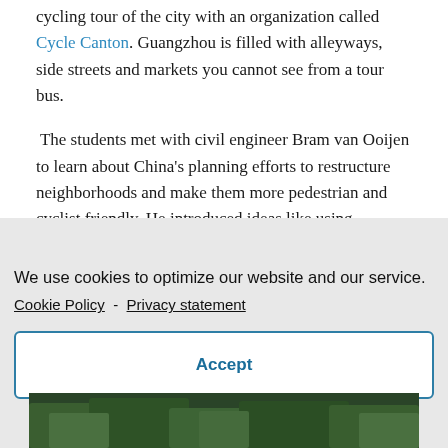cycling tour of the city with an organization called Cycle Canton. Guangzhou is filled with alleyways, side streets and markets you cannot see from a tour bus.
The students met with civil engineer Bram van Ooijen to learn about China's planning efforts to restructure neighborhoods and make them more pedestrian and cyclist friendly. He introduced ideas like using medians, designated bike lanes and sidewalks, and pathways through neighborhoods to promote walking.
We use cookies to optimize our website and our service. Cookie Policy - Privacy statement
Accept
[Figure (photo): Partial photo strip at bottom showing green foliage/trees]